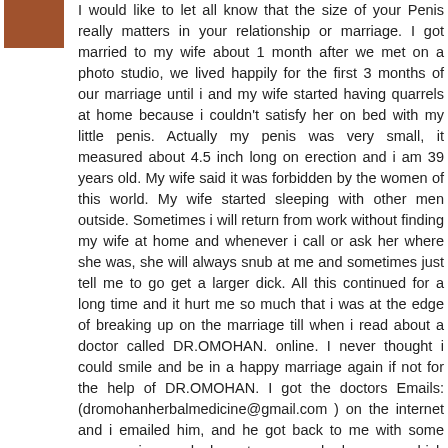[Figure (photo): Small avatar/profile photo of a person in the top-left corner]
I would like to let all know that the size of your Penis really matters in your relationship or marriage. I got married to my wife about 1 month after we met on a photo studio, we lived happily for the first 3 months of our marriage until i and my wife started having quarrels at home because i couldn't satisfy her on bed with my little penis. Actually my penis was very small, it measured about 4.5 inch long on erection and i am 39 years old. My wife said it was forbidden by the women of this world. My wife started sleeping with other men outside. Sometimes i will return from work without finding my wife at home and whenever i call or ask her where she was, she will always snub at me and sometimes just tell me to go get a larger dick. All this continued for a long time and it hurt me so much that i was at the edge of breaking up on the marriage till when i read about a doctor called DR.OMOHAN. online. I never thought i could smile and be in a happy marriage again if not for the help of DR.OMOHAN. I got the doctors Emails: (dromohanherbalmedicine@gmail.com ) on the internet and i emailed him, and he got back to me with some encouraging words, he got me some herbs cream which i use for just 8 days and i began to feel the enlargement of my penis. and without surgery. This went on for a little